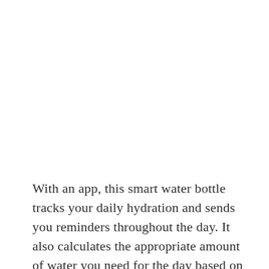With an app, this smart water bottle tracks your daily hydration and sends you reminders throughout the day. It also calculates the appropriate amount of water you need for the day based on your activity level, age, weight, height, if you are pregnant or